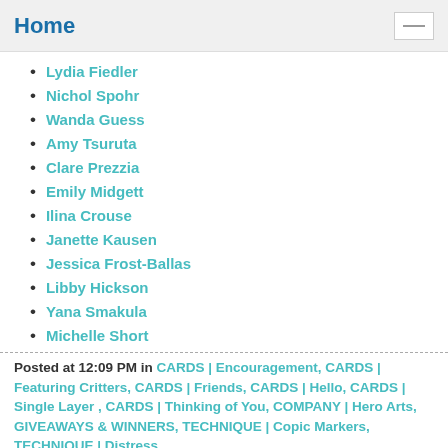Home
Lydia Fiedler
Nichol Spohr
Wanda Guess
Amy Tsuruta
Clare Prezzia
Emily Midgett
Ilina Crouse
Janette Kausen
Jessica Frost-Ballas
Libby Hickson
Yana Smakula
Michelle Short
Posted at 12:09 PM in CARDS | Encouragement, CARDS | Featuring Critters, CARDS | Friends, CARDS | Hello, CARDS | Single Layer , CARDS | Thinking of You, COMPANY | Hero Arts, GIVEAWAYS & WINNERS, TECHNIQUE | Copic Markers, TECHNIQUE | Distress